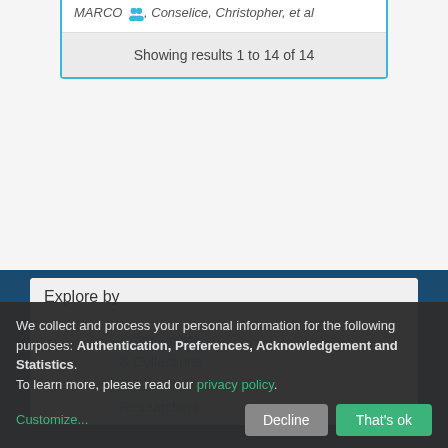MARCO, Conselice, Christopher, et al
Showing results 1 to 14 of 14
Explore by
Communities & Collections
Research outputs
Researchers
We collect and process your personal information for the following purposes: Authentication, Preferences, Acknowledgement and Statistics. To learn more, please read our privacy policy.
Customize... Decline That's ok